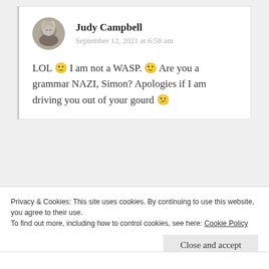[Figure (photo): Circular avatar photo of Judy Campbell, a person with gray/light hair]
Judy Campbell
September 12, 2021 at 6:58 am
LOL 🙂 I am not a WASP. 🙂 Are you a grammar NAZI, Simon? Apologies if I am driving you out of your gourd 😕
Privacy & Cookies: This site uses cookies. By continuing to use this website, you agree to their use.
To find out more, including how to control cookies, see here: Cookie Policy
Close and accept